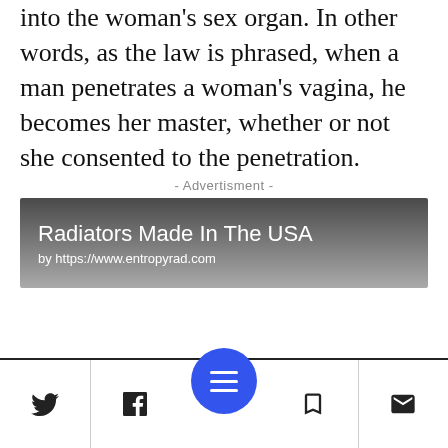into the woman's sex organ. In other words, as the law is phrased, when a man penetrates a woman's vagina, he becomes her master, whether or not she consented to the penetration.
- Advertisment -
[Figure (other): Advertisement banner with dark gradient background. Title: 'Radiators Made In The USA', URL: 'by https://www.entropyrad.com']
Navigation bar with Twitter, Facebook, menu button, bookmark, and email icons